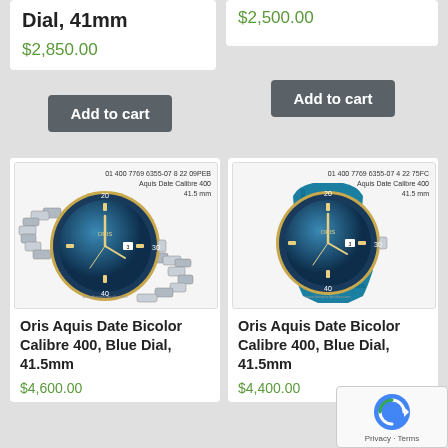Dial, 41mm
$2,850.00
Add to cart
$2,500.00
Add to cart
[Figure (photo): Oris Aquis Date Bicolor Calibre 400 watch with silver bracelet and blue dial, product label reads: 01 400 7769 6355-07 8 22 09PEB Aquis Date Calibre 400 41.5 mm]
Oris Aquis Date Bicolor Calibre 400, Blue Dial, 41.5mm
$4,600.00
[Figure (photo): Oris Aquis Date Bicolor Calibre 400 watch with blue rubber strap and blue dial, product label reads: 01 400 7769 6355-07 4 22 75FC Aquis Date Calibre 400 41.5 mm]
Oris Aquis Date Bicolor Calibre 400, Blue Dial, 41.5mm
$4,400.00